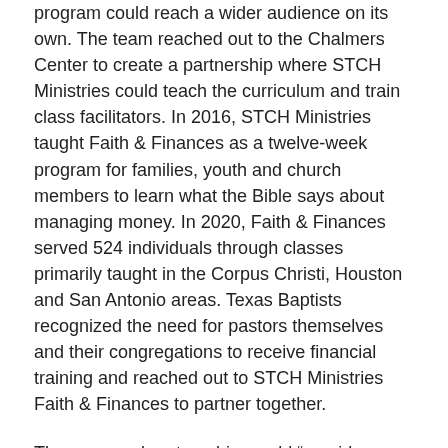program could reach a wider audience on its own. The team reached out to the Chalmers Center to create a partnership where STCH Ministries could teach the curriculum and train class facilitators. In 2016, STCH Ministries taught Faith & Finances as a twelve-week program for families, youth and church members to learn what the Bible says about managing money. In 2020, Faith & Finances served 524 individuals through classes primarily taught in the Corpus Christi, Houston and San Antonio areas. Texas Baptists recognized the need for pastors themselves and their congregations to receive financial training and reached out to STCH Ministries Faith & Finances to partner together.
The proposed partnership would “provide financial literacy education to Texas Baptists pastors and churches across the state that is affordable, faith-based, easily understood and proven to be